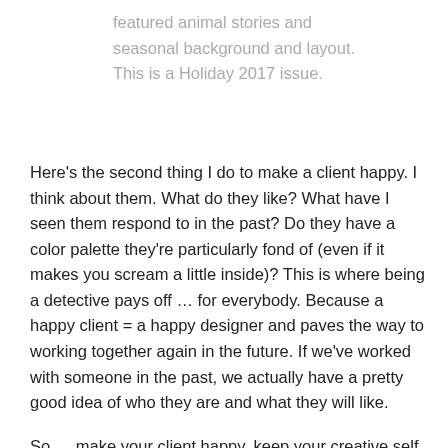featured animal stories and seasonal background and layout. This is a Holiday 2017 issue.
Here's the second thing I do to make a client happy. I think about them. What do they like? What have I seen them respond to in the past? Do they have a color palette they're particularly fond of (even if it makes you scream a little inside)? This is where being a detective pays off … for everybody. Because a happy client = a happy designer and paves the way to working together again in the future. If we've worked with someone in the past, we actually have a pretty good idea of who they are and what they will like.
So … make your client happy, keep your creative self interested, have fun, and get your Sherlock on!